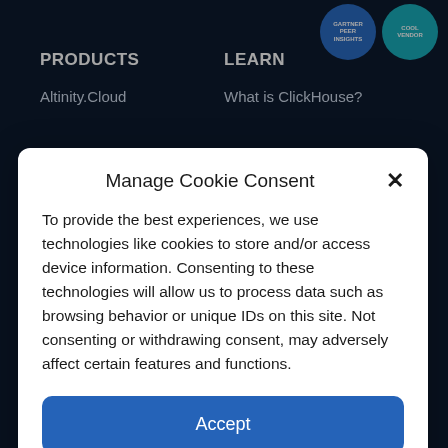PRODUCTS
Altinity.Cloud
LEARN
What is ClickHouse?
Manage Cookie Consent
To provide the best experiences, we use technologies like cookies to store and/or access device information. Consenting to these technologies will allow us to process data such as browsing behavior or unique IDs on this site. Not consenting or withdrawing consent, may adversely affect certain features and functions.
Accept
Deny
Cookie Policy   Privacy Policy